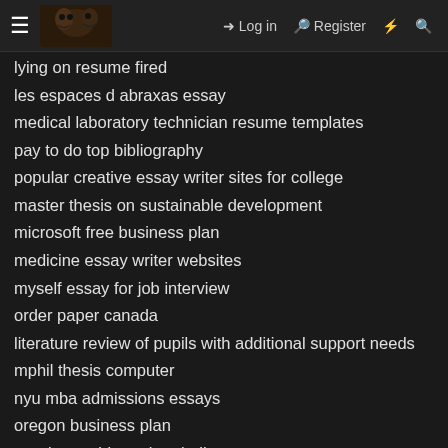≡ [logo] → Log in  Register ⚡ 🔍
lying on resume fired
les espaces d abraxas essay
medical laboratory technician resume templates
pay to do top bibliography
popular creative essay writer sites for college
master thesis on sustainable development
microsoft free business plan
medicine essay writer websites
myself essay for job interview
order paper canada
literature review of pupils with additional support needs
mphil thesis computer
nyu mba admissions essays
oregon business plan
marriage pride and prejudice essay
office manager for medical office resume samples
obama thesis aristocracy reborn
pay to get culture argumentative essay
pay for top college essay on shakespeare
masters essay ghostwriting site ca